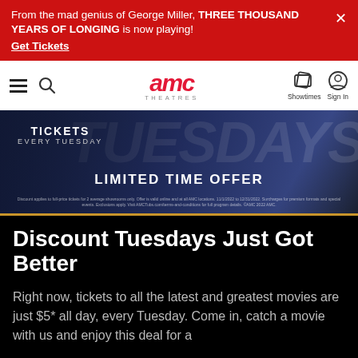From the mad genius of George Miller, THREE THOUSAND YEARS OF LONGING is now playing! Get Tickets
[Figure (logo): AMC Theatres logo with navigation bar including hamburger menu, search, showtimes, and sign in icons]
[Figure (screenshot): Hero banner showing 'TICKETS EVERY TUESDAY' and 'LIMITED TIME OFFER' with fine print disclaimer text over a dark blue cinematic background]
Discount Tuesdays Just Got Better
Right now, tickets to all the latest and greatest movies are just $5* all day, every Tuesday. Come in, catch a movie with us and enjoy this deal for a limited time only.